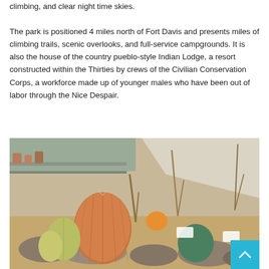climbing, and clear night time skies.
The park is positioned 4 miles north of Fort Davis and presents miles of climbing trails, scenic overlooks, and full-service campgrounds. It is also the house of the country pueblo-style Indian Lodge, a resort constructed within the Thirties by crews of the Civilian Conservation Corps, a workforce made up of younger males who have been out of labor through the Nice Despair.
[Figure (photo): Indoor greenhouse/nursery with various cacti including large barrel cacti arranged on rocky sandy ground, with shelving and plants visible in background under a translucent roof.]